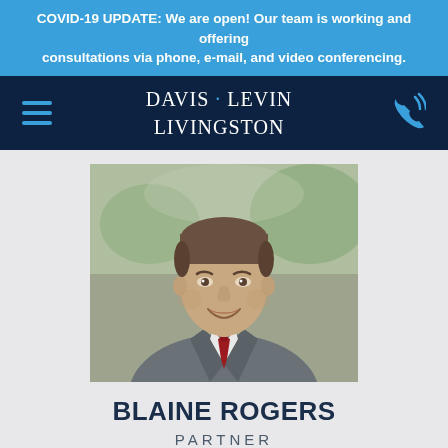COVID-19 UPDATE: We are open! Our team is working and offering consultations via phone, e-mail, and video conferencing.
[Figure (logo): Davis Levin Livingston law firm logo with hamburger menu icon and phone icon on dark navy navigation bar]
[Figure (photo): Professional headshot of Blaine Rogers, a middle-aged man in a grey suit with white shirt and red tie, smiling, with blurred outdoor background]
BLAINE ROGERS
PARTNER